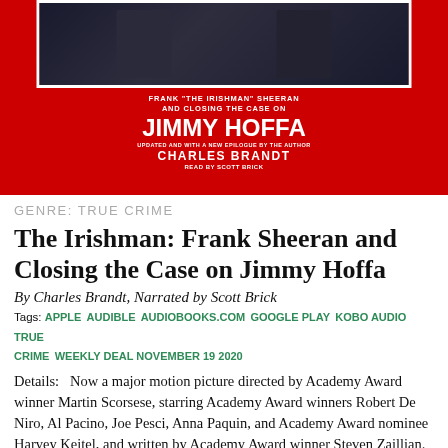[Figure (photo): Book cover for 'The Irishman: Frank Sheeran and Closing the Case on Jimmy Hoffa' by Charles Brandt, narrated by Scott Brick. Red background with photo of two men, large bold white text.]
GENRE: TRUE CRIME
The Irishman: Frank Sheeran and Closing the Case on Jimmy Hoffa
By Charles Brandt, Narrated by Scott Brick
Tags: APPLE AUDIBLE AUDIOBOOKS.COM GOOGLE PLAY KOBO AUDIO TRUE CRIME WEEKLY DEAL NOVEMBER 19 2020
Details:   Now a major motion picture directed by Academy Award winner Martin Scorsese, starring Academy Award winners Robert De Niro, Al Pacino, Joe Pesci, Anna Paquin, and Academy Award nominee Harvey Keitel, and written by Academy Award winner Steven Zaillian. The Irishman" is a message to the true guilt...